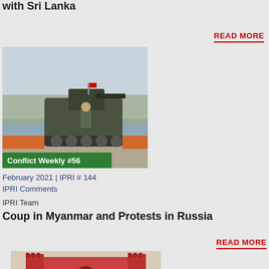with Sri Lanka
READ MORE
[Figure (photo): Military armored vehicle on a road with barriers; text overlay reads 'Conflict Weekly #56' in green banner]
February 2021 | IPRI # 144
IPRI Comments
IPRI Team
Coup in Myanmar and Protests in Russia
READ MORE
[Figure (photo): Crowd of protesters in front of a large red historic fort building (Red Fort, India)]